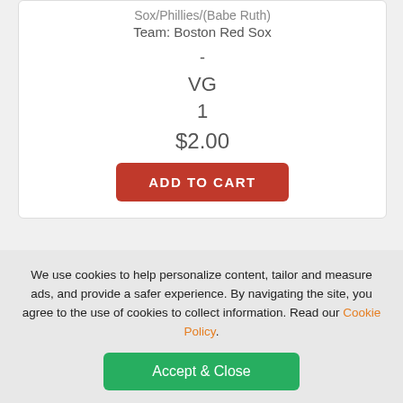Sox/Phillies/(Babe Ruth)
Team: Boston Red Sox
-
VG
1
$2.00
ADD TO CART
[Figure (screenshot): Checkbox (unchecked) above a trading card image thumbnail]
We use cookies to help personalize content, tailor and measure ads, and provide a safer experience. By navigating the site, you agree to the use of cookies to collect information. Read our Cookie Policy.
Accept & Close